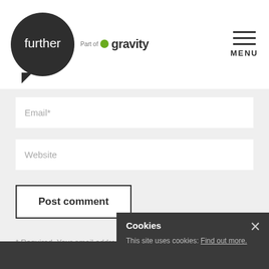[Figure (logo): Further logo — dark circle with 'further' text inside, 'Part of gravity' text with green dot to the right]
MENU
Email*
Website
Post comment
* Required. Your email address will not be published.
Cookies
This site uses cookies: Find out more.